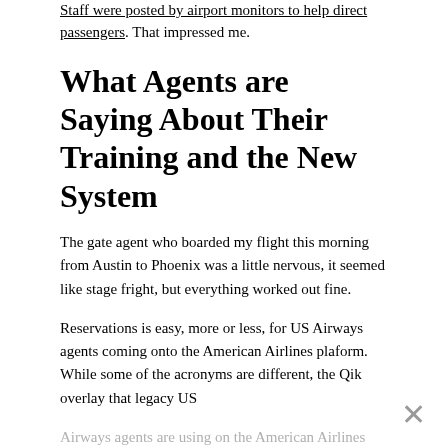Staff were posted by airport monitors to help direct passengers. That impressed me.
What Agents are Saying About Their Training and the New System
The gate agent who boarded my flight this morning from Austin to Phoenix was a little nervous, it seemed like stage fright, but everything worked out fine.
Reservations is easy, more or less, for US Airways agents coming onto the American Airlines plaform. While some of the acronyms are different, the Qik overlay that legacy US Airways agents are using on the American Airlines Sabre reservation system is very